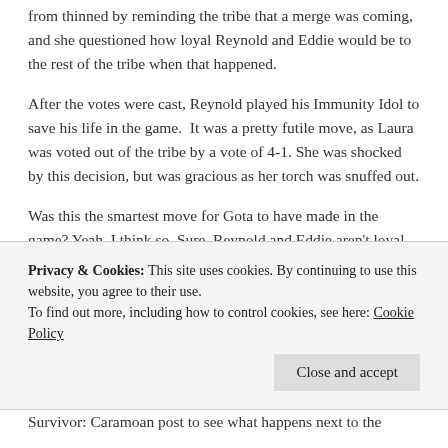from thinned by reminding the tribe that a merge was coming, and she questioned how loyal Reynold and Eddie would be to the rest of the tribe when that happened.
After the votes were cast, Reynold played his Immunity Idol to save his life in the game.  It was a pretty futile move, as Laura was voted out of the tribe by a vote of 4-1. She was shocked by this decision, but was gracious as her torch was snuffed out.
Was this the smartest move for Gota to have made in the game? Yeah, I think so. Sure, Reynold and Eddie aren't loyal to the rest of their tribe, but they have their eye on the bigger picture, winning the game.  Laura even knew she was a liability to the tribe. I'm not sure if many more Gota members will make it to the merge to even warrant...
Privacy & Cookies: This site uses cookies. By continuing to use this website, you agree to their use.
To find out more, including how to control cookies, see here: Cookie Policy
Survivor: Caramoan post to see what happens next to the